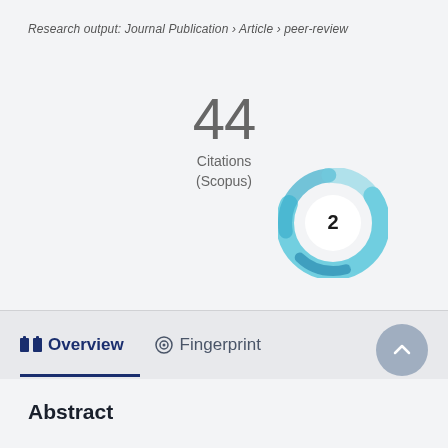Research output: Journal Publication › Article › peer-review
44
Citations
(Scopus)
[Figure (donut-chart): Altmetric donut badge showing score of 2, rendered as a teal/blue swirling ring with white center circle containing the number 2]
Overview
Fingerprint
Abstract